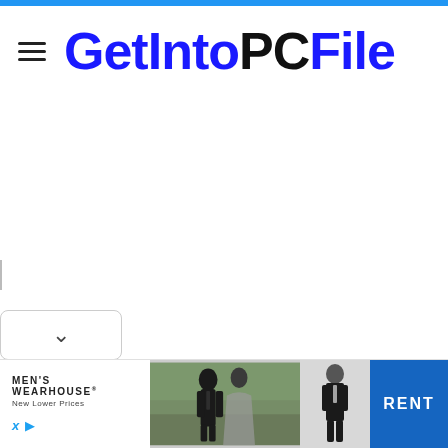GetIntoPCFile
[Figure (screenshot): GetIntoPCFile website screenshot showing navigation header with hamburger menu icon and blue/black logo text, with an advertisement banner at the bottom for Men's Wearhouse featuring a couple in formal wear and a RENT button.]